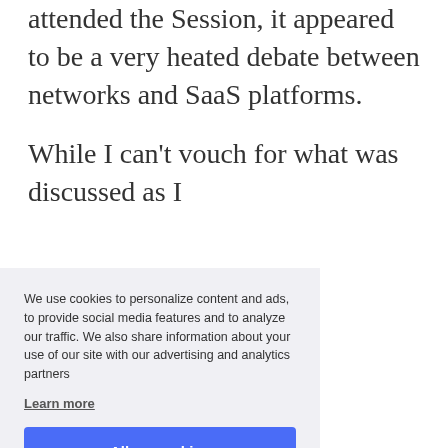attended the session, it appeared to be a very heated debate between networks and SaaS platforms.
While I can't vouch for what was discussed as I [attended, it gave] me some [insight into] posts from [the industry/niche], as a whole, [the channel/model] has [attracted/gained] new partners [that are/were] trackable, [attributable]; to [affiliate/performance] marketing [where it originated or [turned] sour. Yes,
We use cookies to personalize content and ads, to provide social media features and to analyze our traffic. We also share information about your use of our site with our advertising and analytics partners
Learn more
Allow cookies
Reject Cookies
Cookie Preferences